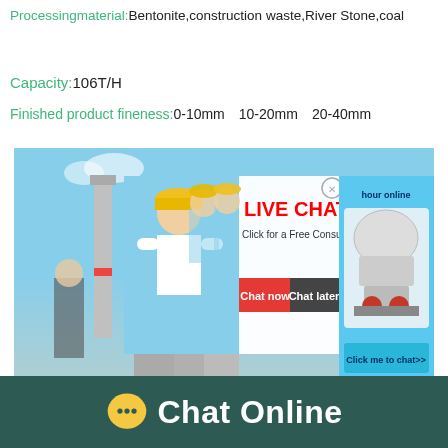Processingmaterial:Bentonite,construction waste,River Stone,coal
Capacity:106T/H
Finished product fineness:0-10mm　10-20mm　20-40mm
[Figure (screenshot): Industrial plant with live chat overlay popup showing 'LIVE CHAT - Click for a Free Consultation' with 'Chat now' (red) and 'Chat later' (dark) buttons. Right side shows a machine image with 'hour online' text and 'Click me to chat>>' button on blue background.]
[Figure (infographic): Dark teal bottom bar with chat bubble icon and 'Chat Online' text in white.]